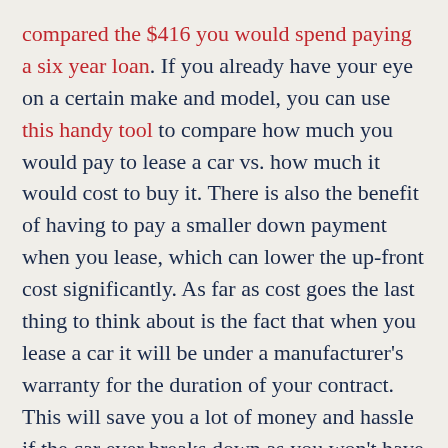compared the $416 you would spend paying a six year loan. If you already have your eye on a certain make and model, you can use this handy tool to compare how much you would pay to lease a car vs. how much it would cost to buy it. There is also the benefit of having to pay a smaller down payment when you lease, which can lower the up-front cost significantly. As far as cost goes the last thing to think about is the fact that when you lease a car it will be under a manufacturer's warranty for the duration of your contract. This will save you a lot of money and hassle if the car ever breaks down as you won't have to worry about costly repair bills that can hijack your monthly budget.
Buying or leasing a new car goes beyond cost. You have to consider safety as well. As drivers get older their risk of being injured or killed in a car accident